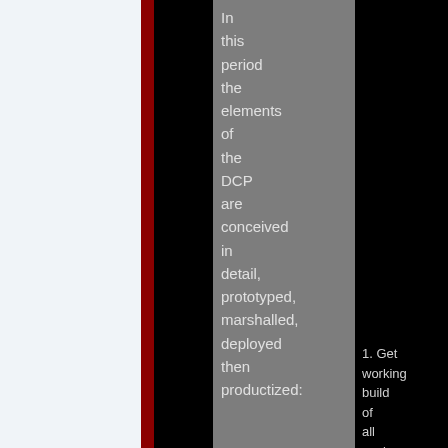In this period the elements of the DCP are conceived in detail, prototyped, marshalled, deployed then productized:
1. Get working build of all packages